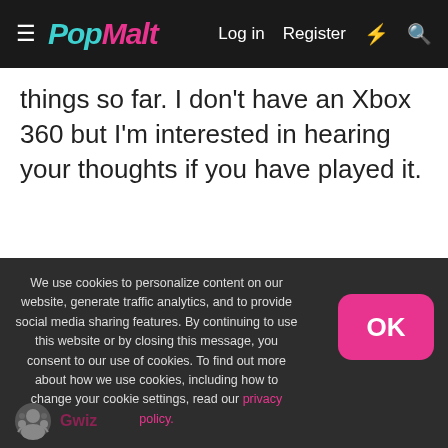PopMalt — Log in  Register
things so far. I don't have an Xbox 360 but I'm interested in hearing your thoughts if you have played it.
We use cookies to personalize content on our website, generate traffic analytics, and to provide social media sharing features. By continuing to use this website or by closing this message, you consent to our use of cookies. To find out more about how we use cookies, including how to change your cookie settings, read our privacy policy.
Gwiz